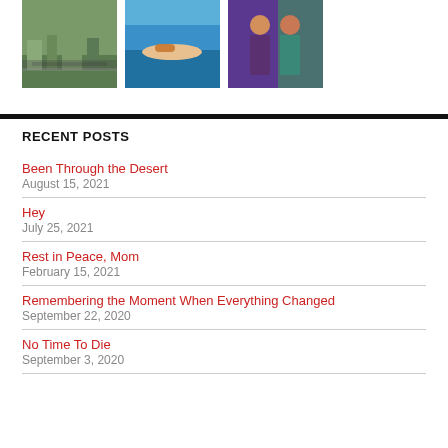[Figure (photo): Three photos: a city aerial view, a person lying on a pool edge, and two people posing together]
RECENT POSTS
Been Through the Desert
August 15, 2021
Hey
July 25, 2021
Rest in Peace, Mom
February 15, 2021
Remembering the Moment When Everything Changed
September 22, 2020
No Time To Die
September 3, 2020